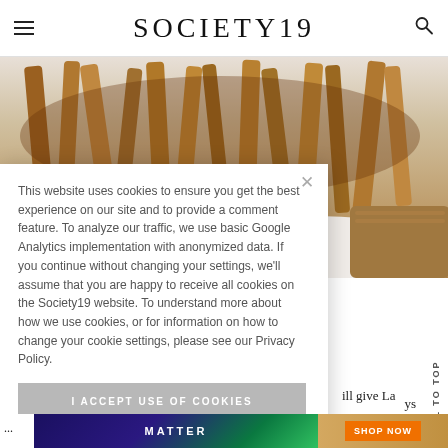SOCIETY19
[Figure (photo): Close-up photo of french fries with brown gravy sauce on a white plate with wooden board visible]
This website uses cookies to ensure you get the best experience on our site and to provide a comment feature. To analyze our traffic, we use basic Google Analytics implementation with anonymized data. If you continue without changing your settings, we'll assume that you are happy to receive all cookies on the Society19 website. To understand more about how we use cookies, or for information on how to change your cookie settings, please see our Privacy Policy.
I ACCEPT USE OF COOKIES
ill give La Claudette,
Scroll To Top
ys